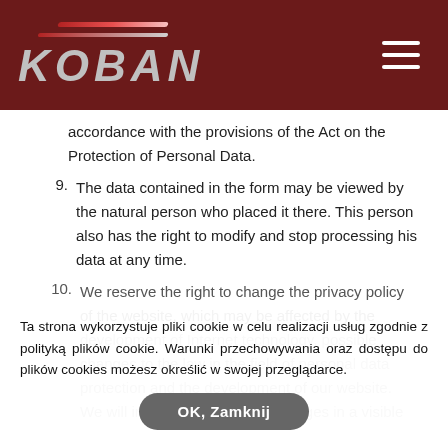[Figure (logo): KOBAN logo with red speed lines on dark red/maroon header background, hamburger menu icon on right]
accordance with the provisions of the Act on the Protection of Personal Data.
9. The data contained in the form may be viewed by the natural person who placed it there. This person also has the right to modify and stop processing his data at any time.
10. We reserve the right to change the privacy policy of the website, which may be affected by the development of Internet technology, possible changes to the law in the field of personal data protection and the development of our website. We will inform you about the changes in a visible
Ta strona wykorzystuje pliki cookie w celu realizacji usług zgodnie z polityką plików cookie. Warunki przechowywania oraz dostępu do plików cookies możesz określić w swojej przeglądarce.